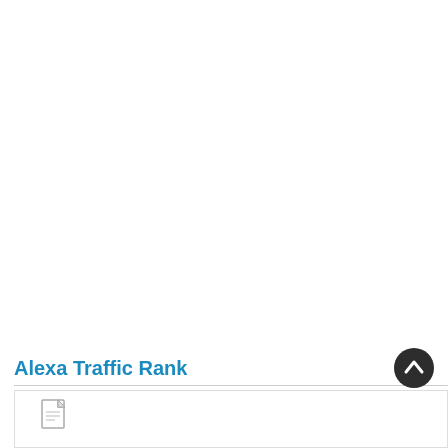Alexa Traffic Rank
[Figure (other): Back-to-top button: dark circular button with upward chevron arrow icon]
[Figure (other): Document/file icon inside a white card area at the bottom of the page]